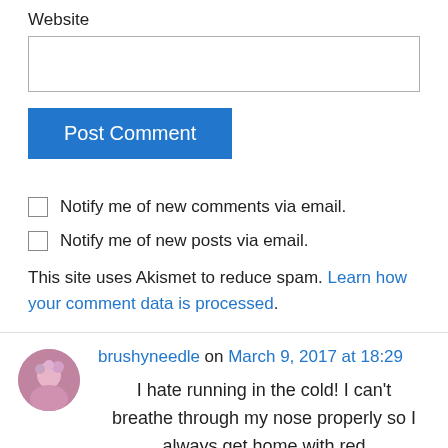Website
[Figure (other): Website text input field (empty)]
[Figure (other): Post Comment button (blue)]
Notify me of new comments via email.
Notify me of new posts via email.
This site uses Akismet to reduce spam. Learn how your comment data is processed.
brushyneedle on March 9, 2017 at 18:29
I hate running in the cold! I can't breathe through my nose properly so I always get home with red